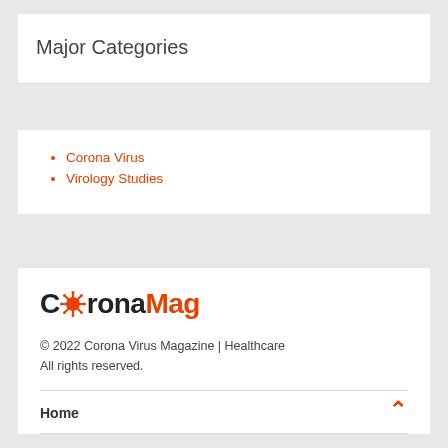Major Categories
Corona Virus
Virology Studies
[Figure (logo): CoronaMag logo with orange virus icon replacing the letter 'o', text reads C[virus]ronaMag where Mag is in orange]
© 2022 Corona Virus Magazine | Healthcare
All rights reserved.
Home